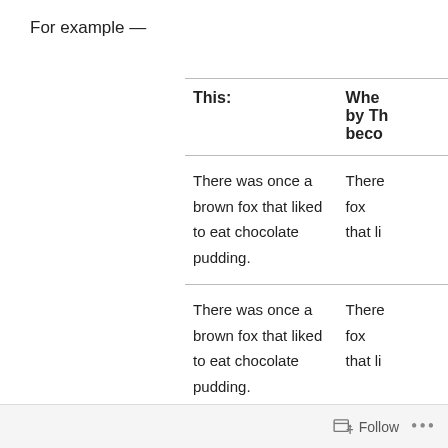For example —
| This: | When Replaced by This: becomes |
| --- | --- |
| There was once a brown fox that liked to eat chocolate pudding. | There was once a brown fox that li |
| There was once a brown fox that liked to eat chocolate pudding. | There was once a brown fox that li |
Follow ...